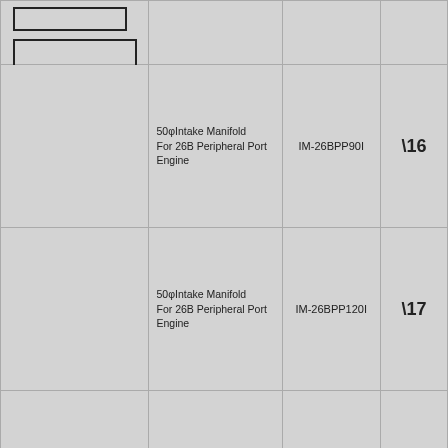[Figure (schematic): Two rectangular boxes (small and large) drawn with thick borders in the top-left cell, representing part diagrams]
50φIntake Manifold For 26B Peripheral Port Engine
IM-26BPP90I
\16
50φIntake Manifold For 26B Peripheral Port Engine
IM-26BPP120I
\17